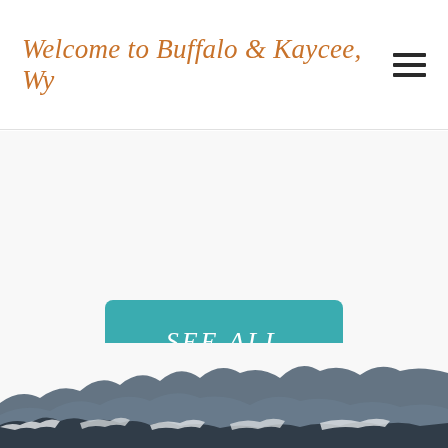Welcome to Buffalo & Kaycee, Wy
[Figure (illustration): Hamburger menu icon (three horizontal lines) in the top right of the header]
[Figure (illustration): Large white/light grey content area below header, mostly blank with a teal 'SEE ALL' button centered in it, and a mountain silhouette watercolor illustration at the bottom of the page]